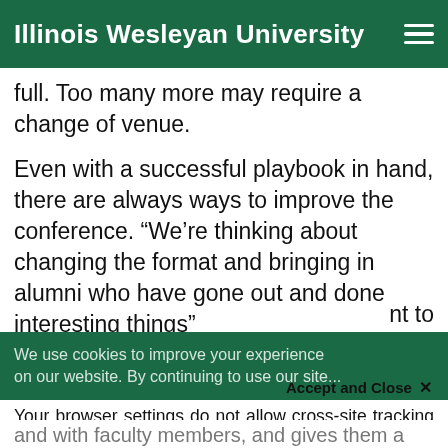Illinois Wesleyan University
full. Too many more may require a change of venue.
Even with a successful playbook in hand, there are always ways to improve the conference. “We’re thinking about changing the format and bringing in alumni who have gone out and done interesting things” ... [partially obscured] ...nt to ...nt to
We use cookies to improve your experience on our website. By continuing to use our site...
Accept and Close ×
Your browser settings do not allow cross-site tracking for advertising. Click on this page to allow AdRoll to use cross-site tracking to tailor ads to you. Learn more or opt out of this AdRoll tracking by clicking here. This message only appears once.
and with faculty members, and gives them a taste of